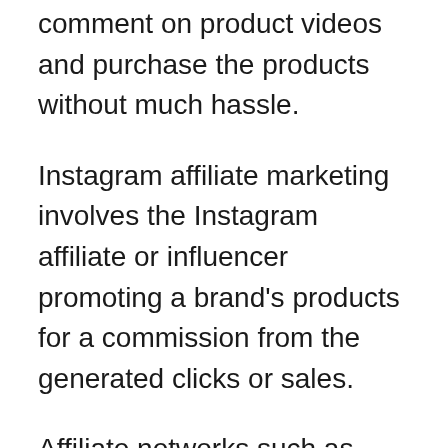comment on product videos and purchase the products without much hassle.
Instagram affiliate marketing involves the Instagram affiliate or influencer promoting a brand's products for a commission from the generated clicks or sales.
Affiliate networks such as ShareASale and CJ Affiliate connect influencers to brands that want to promote their products.
Influencers like Kylie Jenner are among the first things that come to mind when you